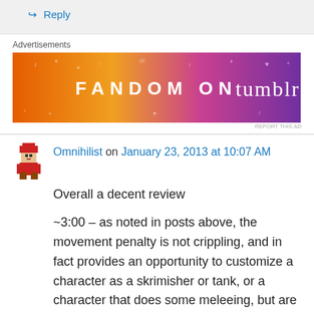↳ Reply
Advertisements
[Figure (illustration): Fandom on Tumblr advertisement banner with orange to purple gradient background and decorative elements]
REPORT THIS AD
Omnihilist on January 23, 2013 at 10:07 AM
Overall a decent review

~3:00 – as noted in posts above, the movement penalty is not crippling, and in fact provides an opportunity to customize a character as a skrimisher or tank, or a character that does some meleeing, but are not good enough to simply ignore the movement penalty. This is one of the aspects of the game that allows